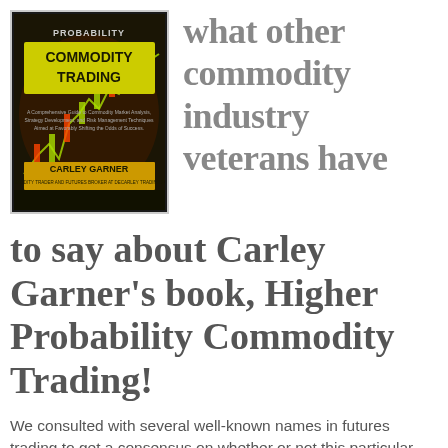[Figure (photo): Book cover of 'Higher Probability Commodity Trading' by Carley Garner, showing a dark background with candlestick chart graphics and green/yellow coloring.]
what other commodity industry veterans have to say about Carley Garner's book, Higher Probability Commodity Trading!
We consulted with several well-known names in futures trading to get a consensus on whether or not this particular commodity trading book belonged in the trading library's of various types and sizes of futures traders. The results were overwhelming...